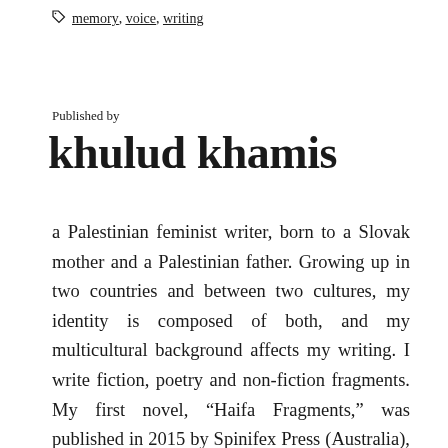memory, voice, writing
Published by
khulud khamis
a Palestinian feminist writer, born to a Slovak mother and a Palestinian father. Growing up in two countries and between two cultures, my identity is composed of both, and my multicultural background affects my writing. I write fiction, poetry and non-fiction fragments. My first novel, “Haifa Fragments,” was published in 2015 by Spinifex Press (Australia), New Internationalist (UK), and translated into Italian and Turkish. I hold a Master’s degree in English